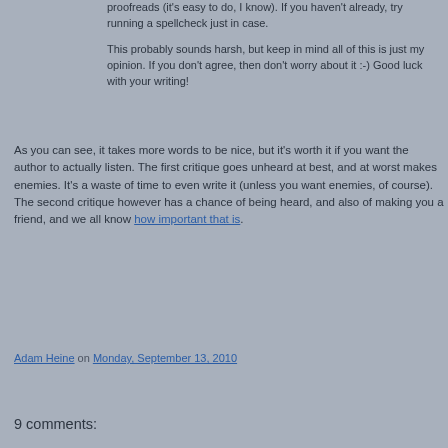proofreads (it's easy to do, I know). If you haven't already, try running a spellcheck just in case.
This probably sounds harsh, but keep in mind all of this is just my opinion. If you don't agree, then don't worry about it :-) Good luck with your writing!
As you can see, it takes more words to be nice, but it's worth it if you want the author to actually listen. The first critique goes unheard at best, and at worst makes enemies. It's a waste of time to even write it (unless you want enemies, of course). The second critique however has a chance of being heard, and also of making you a friend, and we all know how important that is.
Adam Heine on Monday, September 13, 2010
Share
9 comments: